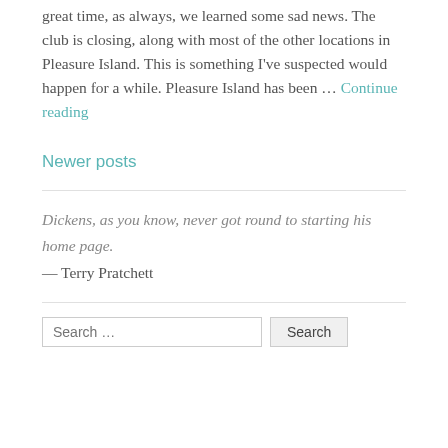great time, as always, we learned some sad news. The club is closing, along with most of the other locations in Pleasure Island. This is something I've suspected would happen for a while. Pleasure Island has been … Continue reading
Newer posts
Dickens, as you know, never got round to starting his home page.
— Terry Pratchett
Search …